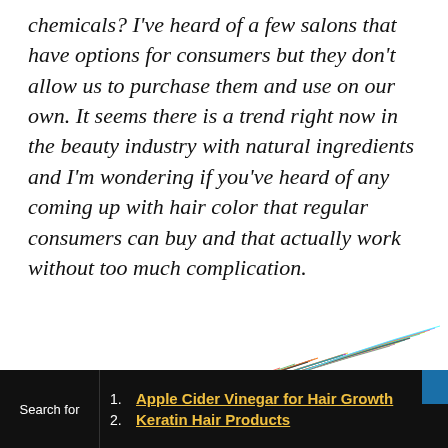chemicals? I've heard of a few salons that have options for consumers but they don't allow us to purchase them and use on our own. It seems there is a trend right now in the beauty industry with natural ingredients and I'm wondering if you've heard of any coming up with hair color that regular consumers can buy and that actually work without too much complication.
The Beauty  Brains respond
[Figure (photo): Colorful multi-colored hair strands fanned out, showing rainbow-colored hair against white background]
Search for  1. Apple Cider Vinegar for Hair Growth  2. Keratin Hair Products